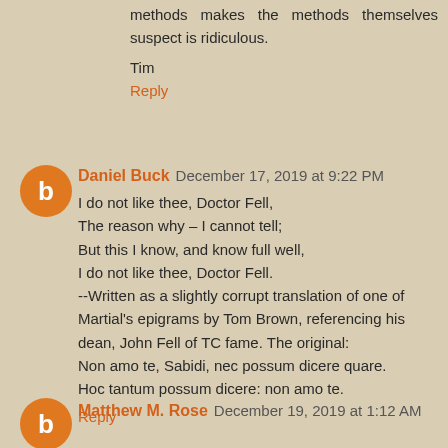methods makes the methods themselves suspect is ridiculous.
Tim
Reply
Daniel Buck December 17, 2019 at 9:22 PM
I do not like thee, Doctor Fell,
The reason why – I cannot tell;
But this I know, and know full well,
I do not like thee, Doctor Fell.
--Written as a slightly corrupt translation of one of Martial's epigrams by Tom Brown, referencing his dean, John Fell of TC fame. The original:
Non amo te, Sabidi, nec possum dicere quare.
Hoc tantum possum dicere: non amo te.
Reply
Matthew M. Rose December 19, 2019 at 1:12 AM